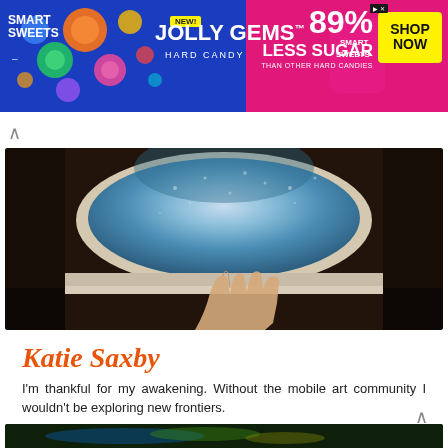[Figure (photo): Smart Sweets Jolly Gems advertisement banner. Blue and pink background with candy imagery. Text: SMART SWEETS, NEW!, JOLLY GEMS HARD CANDY, 89% LESS SUGAR THAN OTHER HARD CANDIES, SHOP NOW]
[Figure (photo): Photograph of a person's hand resting on an airplane window sill. The oval airplane window shows a view of clouds or earth from above.]
Katie Saxby
I'm thankful for my awakening. Without the mobile art community I wouldn't be exploring new frontiers.
Image ©Katie Saxby
[Figure (photo): Partially visible photograph of a nature/landscape scene with blue and green glowing light tones, possibly water or forest with reflections.]